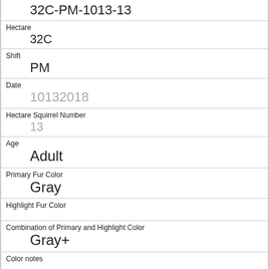32C-PM-1013-13
Hectare
32C
Shift
PM
Date
10132018
Hectare Squirrel Number
13
Age
Adult
Primary Fur Color
Gray
Highlight Fur Color
Combination of Primary and Highlight Color
Gray+
Color notes
Location
Ground Plane